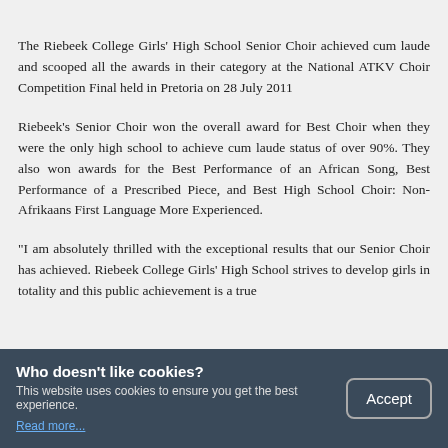The Riebeek College Girls' High School Senior Choir achieved cum laude and scooped all the awards in their category at the National ATKV Choir Competition Final held in Pretoria on 28 July 2011
Riebeek's Senior Choir won the overall award for Best Choir when they were the only high school to achieve cum laude status of over 90%. They also won awards for the Best Performance of an African Song, Best Performance of a Prescribed Piece, and Best High School Choir: Non-Afrikaans First Language More Experienced.
“I am absolutely thrilled with the exceptional results that our Senior Choir has achieved. Riebeek College Girls’ High School strives to develop girls in totality and this public achievement is a true … which is prevalent at our school,” said … … this Fri.
Who doesn't like cookies?
This website uses cookies to ensure you get the best experience.
Read more...